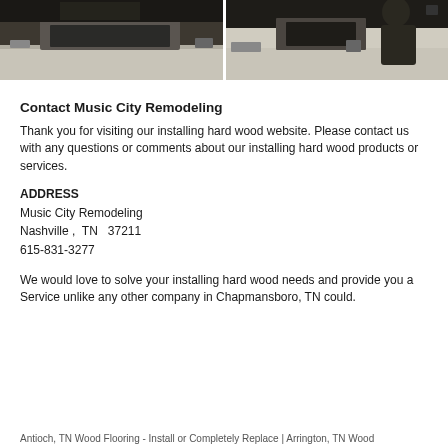[Figure (photo): Two side-by-side kitchen photos showing countertops and sink areas during remodeling work]
Contact Music City Remodeling
Thank you for visiting our installing hard wood website. Please contact us with any questions or comments about our installing hard wood products or services.
ADDRESS
Music City Remodeling
Nashville ,  TN   37211
615-831-3277
We would love to solve your installing hard wood needs and provide you a Service unlike any other company in Chapmansboro, TN could.
Antioch, TN Wood Flooring - Install or Completely Replace | Arrington, TN Wood